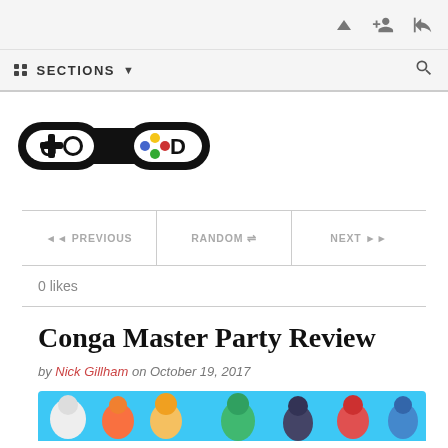Navigation icons: up arrow, add user, login
:: SECTIONS ↓  [search icon]
[Figure (logo): GD Gaming Deals logo — black game controller icon with G and D letters and colored dots]
◄◄ PREVIOUS   RANDOM ⇌   NEXT ▶▶
0 likes
Conga Master Party Review
by Nick Gillham on October 19, 2017
[Figure (illustration): Colorful cartoon characters from Conga Master Party game, partially visible at bottom of page]